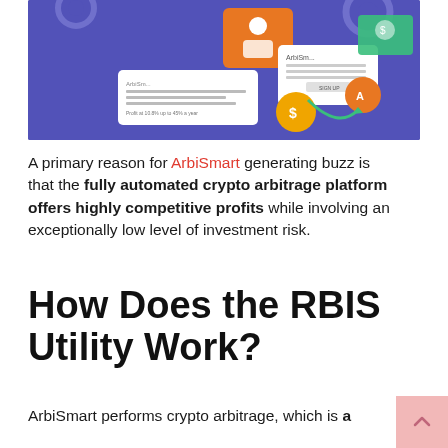[Figure (illustration): Illustrated graphic showing ArbiSmart platform interface elements: a profile icon, a signup form, crypto coins (dollar, Bitcoin), and UI cards on a purple/blue background.]
A primary reason for ArbiSmart generating buzz is that the fully automated crypto arbitrage platform offers highly competitive profits while involving an exceptionally low level of investment risk.
How Does the RBIS Utility Work?
ArbiSmart performs crypto arbitrage, which is a basis for one of the things that is a...